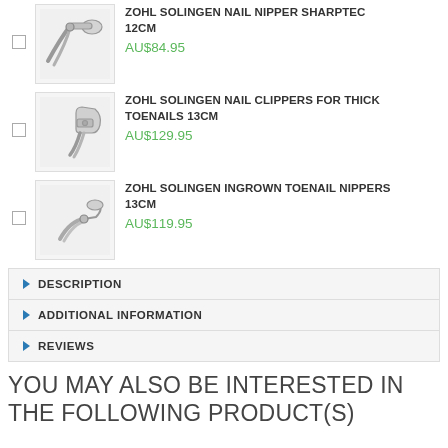ZOHL SOLINGEN NAIL NIPPER SHARPTEC 12CM — AU$84.95
ZOHL SOLINGEN NAIL CLIPPERS FOR THICK TOENAILS 13CM — AU$129.95
ZOHL SOLINGEN INGROWN TOENAIL NIPPERS 13CM — AU$119.95
DESCRIPTION
ADDITIONAL INFORMATION
REVIEWS
YOU MAY ALSO BE INTERESTED IN THE FOLLOWING PRODUCT(S)